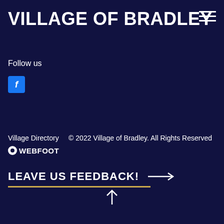VILLAGE OF BRADLEY
[Figure (other): Hamburger menu icon (three horizontal white lines) in top right corner]
Follow us
[Figure (logo): Facebook icon - blue rounded square with white letter f]
Village Directory    © 2022 Village of Bradley. All Rights Reserved
●WEBFOOT
LEAVE US FEEDBACK! →
[Figure (other): Upward arrow icon at the bottom center of the page]